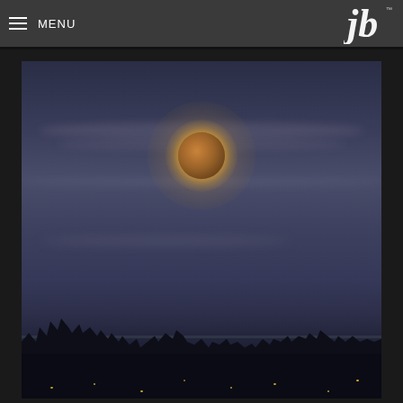MENU | JB logo
[Figure (photo): A large orange/amber full moon rising through thin cloud layers against a dark blue-grey twilight sky, with a silhouetted treeline and town lights visible in the foreground below.]